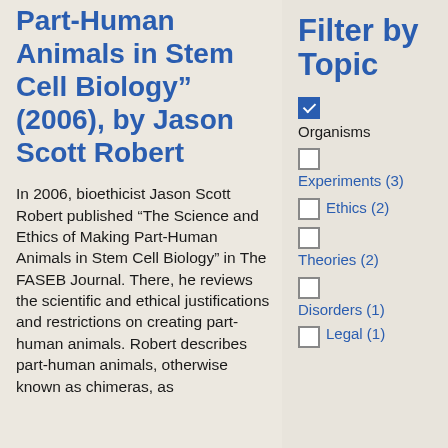Part-Human Animals in Stem Cell Biology” (2006), by Jason Scott Robert
In 2006, bioethicist Jason Scott Robert published “The Science and Ethics of Making Part-Human Animals in Stem Cell Biology” in The FASEB Journal. There, he reviews the scientific and ethical justifications and restrictions on creating part-human animals. Robert describes part-human animals, otherwise known as chimeras, as
Filter by Topic
Organisms
Experiments (3)
Ethics (2)
Theories (2)
Disorders (1)
Legal (1)